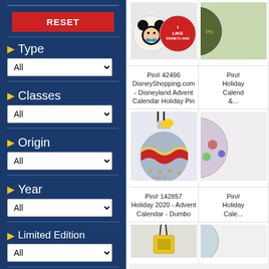[Figure (screenshot): Disney pin trading website filter sidebar with RESET button and dropdowns for Type, Classes, Origin, Year, Limited Edition, Attractions]
[Figure (photo): Pin# 42496 - DisneyShopping.com - Disneyland Advent Calendar Holiday Pin showing Mickey Mouse and I Like Disneyland circular pins]
Pin# 42496 DisneyShopping.com - Disneyland Advent Calendar Holiday Pin
[Figure (photo): Pin# 142857 Holiday 2020 - Advent Calendar - Dumbo showing ornament shaped pin]
Pin# 142857 Holiday 2020 - Advent Calendar - Dumbo
[Figure (photo): Partial view of another holiday advent calendar pin at bottom right]
Pin# Holiday Calendar &...
[Figure (photo): Bottom row partial pins]